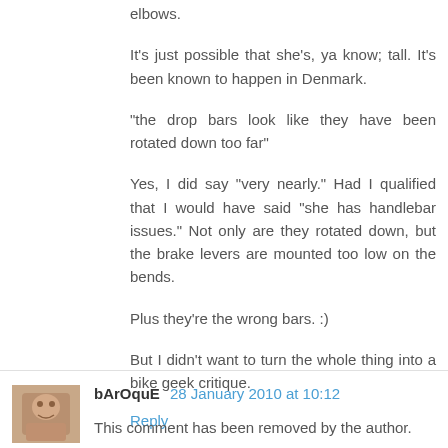elbows.
It's just possible that she's, ya know; tall. It's been known to happen in Denmark.
"the drop bars look like they have been rotated down too far"
Yes, I did say "very nearly." Had I qualified that I would have said "she has handlebar issues." Not only are they rotated down, but the brake levers are mounted too low on the bends.
Plus they're the wrong bars. :)
But I didn't want to turn the whole thing into a bike geek critique.
Reply
bArOquE 28 January 2010 at 10:12
This comment has been removed by the author.